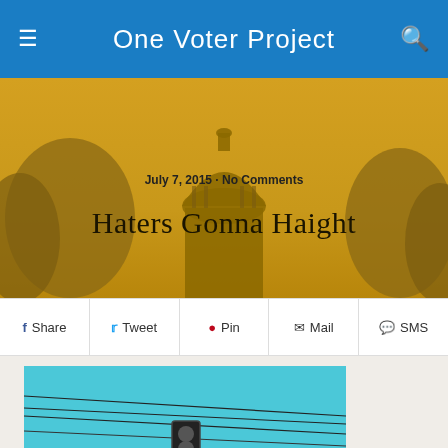One Voter Project
[Figure (illustration): Hero banner with golden/amber toned silhouette of a capitol dome and trees]
July 7, 2015 · No Comments
Haters Gonna Haight
Share  Tweet  Pin  Mail  SMS
[Figure (photo): Street-level photo showing a traffic light with green signal and a Haight street sign on a curved metal pole, with trees and utility wires against a blue sky]